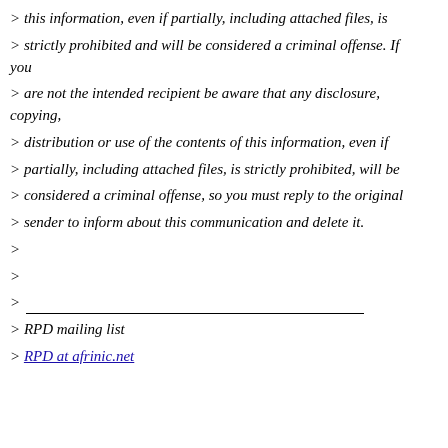> this information, even if partially, including attached files, is
> strictly prohibited and will be considered a criminal offense. If you
> are not the intended recipient be aware that any disclosure, copying,
> distribution or use of the contents of this information, even if
> partially, including attached files, is strictly prohibited, will be
> considered a criminal offense, so you must reply to the original
> sender to inform about this communication and delete it.
>
>
> ___________________________________
> RPD mailing list
> RPD at afrinic.net